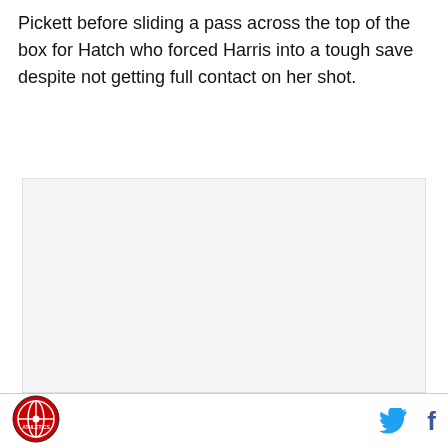Pickett before sliding a pass across the top of the box for Hatch who forced Harris into a tough save despite not getting full contact on her shot.
[Figure (photo): Large image placeholder area, light gray background, appears to be an embedded photo or video embed area]
Logo icon (circular red sports logo) on the left; Twitter and Facebook social icons on the right